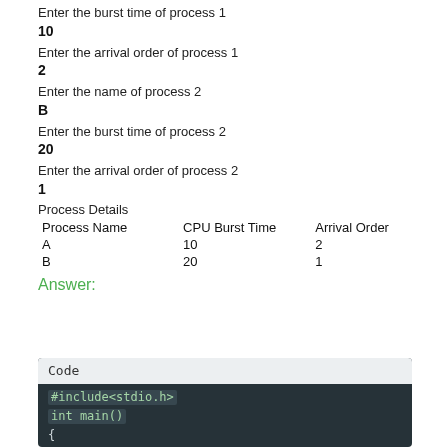Enter the burst time of process 1
10
Enter the arrival order of process 1
2
Enter the name of process 2
B
Enter the burst time of process 2
20
Enter the arrival order of process 2
1
Process Details
| Process Name | CPU Burst Time | Arrival Order |
| --- | --- | --- |
| A | 10 | 2 |
| B | 20 | 1 |
Answer:
[Figure (screenshot): Code block with dark background showing #include<stdio.h>, int main(), and { on next line]